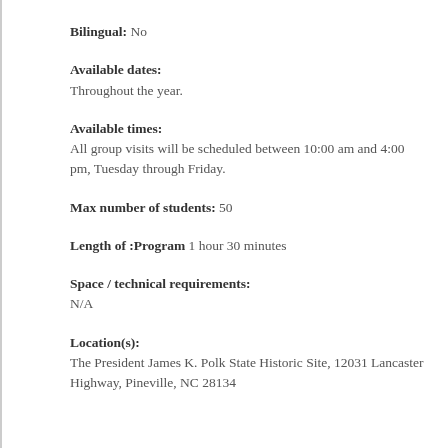Bilingual: No
Available dates:
Throughout the year.
Available times:
All group visits will be scheduled between 10:00 am and 4:00 pm, Tuesday through Friday.
Max number of students: 50
Length of :Program 1 hour 30 minutes
Space / technical requirements:
N/A
Location(s):
The President James K. Polk State Historic Site, 12031 Lancaster Highway, Pineville, NC 28134